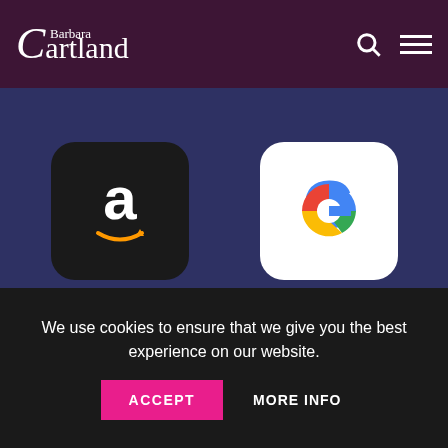Barbara Cartland
[Figure (logo): Amazon app icon - black background with white Amazon 'a' logo and orange smile arrow]
[Figure (logo): Google app icon - white background with multicolor Google 'G' logo]
[Figure (logo): Apple Books app icon - orange background with white open book symbol]
[Figure (logo): bc.com app icon - pink/magenta background with white 'bc .com' text]
We use cookies to ensure that we give you the best experience on our website.
ACCEPT   MORE INFO